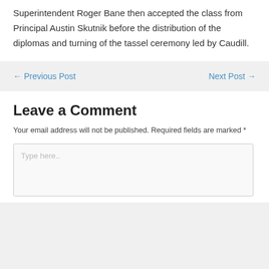Superintendent Roger Bane then accepted the class from Principal Austin Skutnik before the distribution of the diplomas and turning of the tassel ceremony led by Caudill.
← Previous Post
Next Post →
Leave a Comment
Your email address will not be published. Required fields are marked *
Type here..